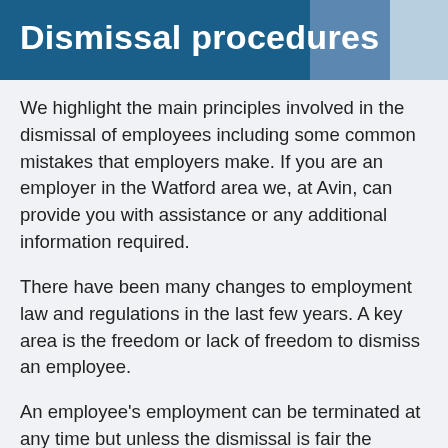Dismissal procedures
We highlight the main principles involved in the dismissal of employees including some common mistakes that employers make. If you are an employer in the Watford area we, at Avin, can provide you with assistance or any additional information required.
There have been many changes to employment law and regulations in the last few years. A key area is the freedom or lack of freedom to dismiss an employee.
An employee's employment can be terminated at any time but unless the dismissal is fair the employer may be found guilty of unfair dismissal by an Employment Tribunal.
In November 2011, the qualifying period for unfair dismissal increased from one to two years continuous service. However,